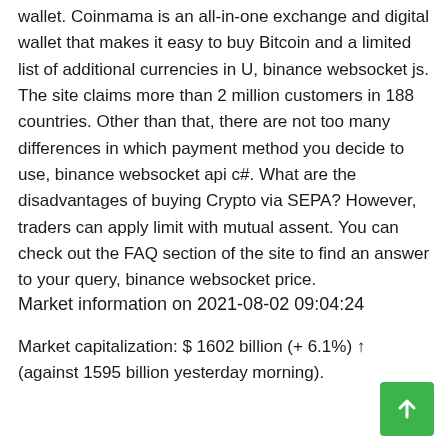wallet. Coinmama is an all-in-one exchange and digital wallet that makes it easy to buy Bitcoin and a limited list of additional currencies in U, binance websocket js. The site claims more than 2 million customers in 188 countries. Other than that, there are not too many differences in which payment method you decide to use, binance websocket api c#. What are the disadvantages of buying Crypto via SEPA? However, traders can apply limit with mutual assent. You can check out the FAQ section of the site to find an answer to your query, binance websocket price.
Market information on 2021-08-02 09:04:24
Market capitalization: $ 1602 billion (+ 6.1%) 🠕 (against 1595 billion yesterday morning).